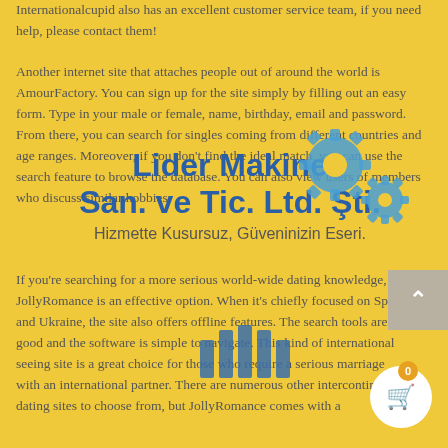Internationalcupid also has an excellent customer service team, if you need help, please contact them!
Another internet site that attaches people out of around the world is AmourFactory. You can sign up for the site simply by filling out an easy form. Type in your male or female, name, birthday, email and password. From there, you can search for singles coming from different countries and age ranges. Moreover, if you don't find the ideal match, you can use the search feature to browse the database. You can also view users of members who discuss similar hobbies.
[Figure (logo): Lider Makine San. ve Tic. Ltd. Şti. logo with blue text and two blue gears, subtitle: Hizmette Kusursuz, Güveninizin Eseri.]
If you're searching for a more serious world-wide dating knowledge, JollyRomance is an effective option. When it's chiefly focused on Spain and Ukraine, the site also offers offline features. The search tools are good and the software is simple to navigate. This kind of international seeing site is a great choice for those who require a serious marriage with an international partner. There are numerous other intercontinental dating sites to choose from, but JollyRomance comes with a